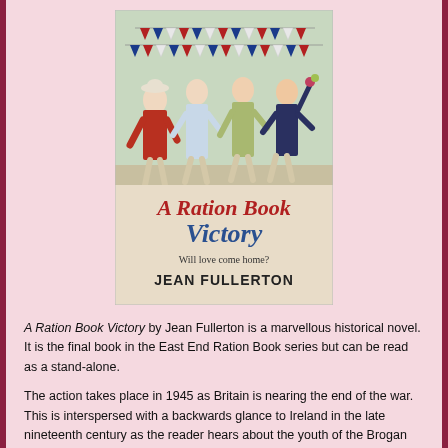[Figure (illustration): Book cover of 'A Ration Book Victory' by Jean Fullerton. Shows four women in 1940s attire dancing joyfully in a street decorated with Union Jack bunting. Title text in red and blue: 'A Ration Book Victory'. Subtitle: 'Will love come home?' Author: 'JEAN FULLERTON'.]
A Ration Book Victory by Jean Fullerton is a marvellous historical novel. It is the final book in the East End Ration Book series but can be read as a stand-alone.
The action takes place in 1945 as Britain is nearing the end of the war. This is interspersed with a backwards glance to Ireland in the late nineteenth century as the reader hears about the youth of the Brogan